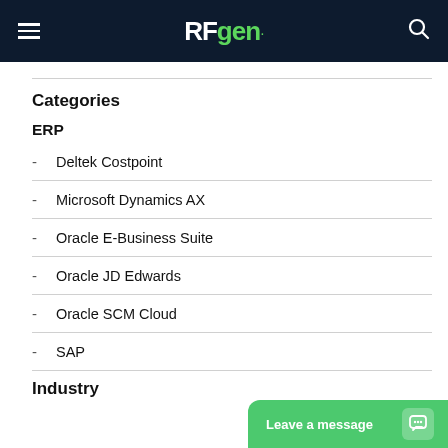RFgen
Categories
ERP
Deltek Costpoint
Microsoft Dynamics AX
Oracle E-Business Suite
Oracle JD Edwards
Oracle SCM Cloud
SAP
Industry
Leave a message